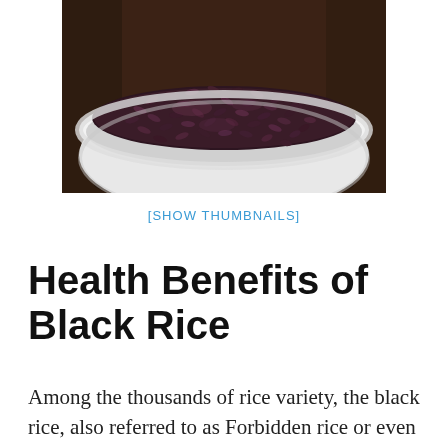[Figure (photo): A white bowl filled with cooked black (forbidden/purple) rice, photographed from above against a dark brown wooden surface background.]
[SHOW THUMBNAILS]
Health Benefits of Black Rice
Among the thousands of rice variety, the black rice, also referred to as Forbidden rice or even purple rice, is recognized as among the